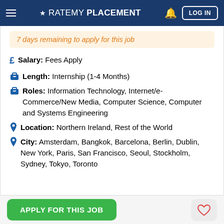≡ ★ RATEMY PLACEMENT 🔔 LOG IN
7 days remaining to apply for this job
£ Salary: Fees Apply
Length: Internship (1-4 Months)
Roles: Information Technology, Internet/e-Commerce/New Media, Computer Science, Computer and Systems Engineering
Location: Northern Ireland, Rest of the World
City: Amsterdam, Bangkok, Barcelona, Berlin, Dublin, New York, Paris, San Francisco, Seoul, Stockholm, Sydney, Tokyo, Toronto
APPLY FOR THIS JOB